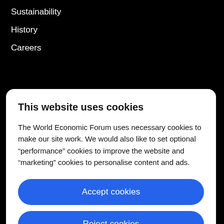Sustainability
History
Careers
This website uses cookies
The World Economic Forum uses necessary cookies to make our site work. We would also like to set optional “performance” cookies to improve the website and “marketing” cookies to personalise content and ads.
Accept cookies
Reject cookies
Cookie settings